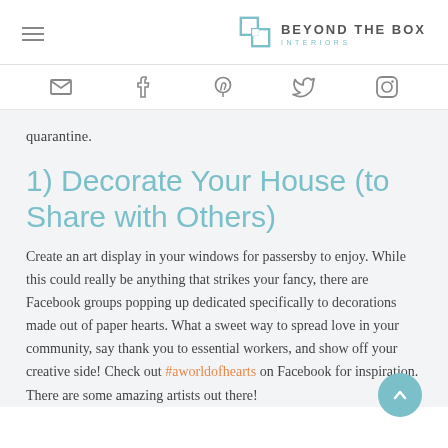BEYOND THE BOX INTERIORS
[Figure (logo): Beyond The Box Interiors logo with two overlapping squares icon and brand name]
[Figure (infographic): Social media icons row: email, Facebook, Pinterest, Twitter, Instagram]
quarantine.
1) Decorate Your House (to Share with Others)
Create an art display in your windows for passersby to enjoy. While this could really be anything that strikes your fancy, there are Facebook groups popping up dedicated specifically to decorations made out of paper hearts. What a sweet way to spread love in your community, say thank you to essential workers, and show off your creative side! Check out #aworldofhearts on Facebook for inspiration. There are some amazing artists out there!